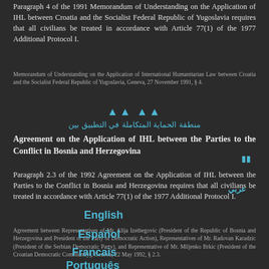Paragraph 4 of the 1991 Memorandum of Understanding on the Application of IHL between Croatia and the Socialist Federal Republic of Yugoslavia requires that all civilians be treated in accordance with Article 77(1) of the 1977 Additional Protocol I.
Memorandum of Understanding on the Application of International Humanitarian Law between Croatia and the Socialist Federal Republic of Yugoslavia, Geneva, 27 November 1991, § 4.
Agreement on the Application of IHL between the Parties to the Conflict in Bosnia and Herzegovina
Paragraph 2.3 of the 1992 Agreement on the Application of IHL between the Parties to the Conflict in Bosnia and Herzegovina requires that all civilians be treated in accordance with Article 77(1) of the 1977 Additional Protocol I.
Agreement between Representatives of Mr. Alija Izetbegovic (President of the Republic of Bosnia and Herzegovina and President of the Party of Democratic Action), Representatives of Mr. Radovan Karadzic (President of the Serbian Democratic Party), and Representative of Mr. Miljenko Brkic (President of the Croatian Democratic Community), Geneva, 22 May 1992, § 2.3.
Protocol of Agreement between the Government of the Republic of Rwanda and the Rwandese Patriotic Front on